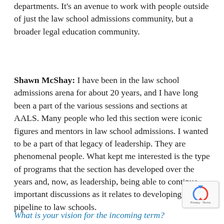departments. It's an avenue to work with people outside of just the law school admissions community, but a broader legal education community.
Shawn McShay: I have been in the law school admissions arena for about 20 years, and I have long been a part of the various sessions and sections at AALS. Many people who led this section were iconic figures and mentors in law school admissions. I wanted to be a part of that legacy of leadership. They are phenomenal people. What kept me interested is the type of programs that the section has developed over the years and, now, as leadership, being able to continue important discussions as it relates to developing the pipeline to law schools.
What is your vision for the incoming term?